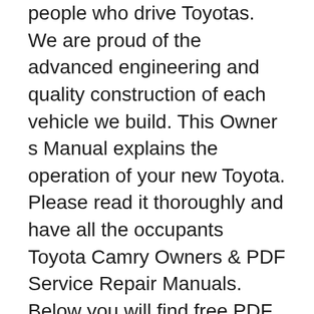people who drive Toyotas. We are proud of the advanced engineering and quality construction of each vehicle we build. This Owner s Manual explains the operation of your new Toyota. Please read it thoroughly and have all the occupants Toyota Camry Owners & PDF Service Repair Manuals. Below you will find free PDF files for select years of your Toyota Camry automobile. 1996 Toyota Camry Owners Manuals . 1997 Toyota Camry Owners Manuals . 1998 Toyota Camry Owners Manuals . 1999 Toyota Camry Owners Manuals . 2000 Toyota Camry Owners Manuals . 2001 Toyota Camry Owners Manuals . 2002 Toyota Camry Owners Manuals ...